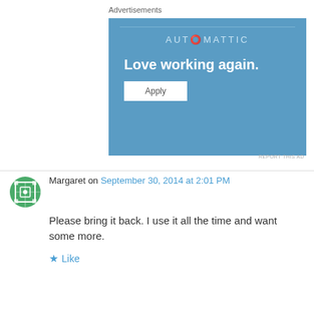Advertisements
[Figure (illustration): Automattic advertisement banner with blue background showing the text 'AUTOMATTIC' at top, 'Love working again.' as headline, and an 'Apply' button.]
REPORT THIS AD
Margaret on September 30, 2014 at 2:01 PM
Please bring it back. I use it all the time and want some more.
Like